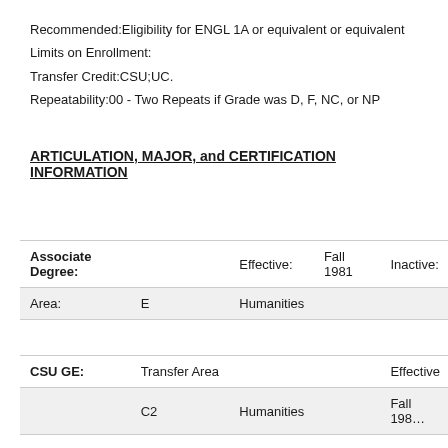Recommended:Eligibility for ENGL 1A or equivalent or equivalent
Limits on Enrollment:
Transfer Credit:CSU;UC.
Repeatability:00 - Two Repeats if Grade was D, F, NC, or NP
ARTICULATION, MAJOR, and CERTIFICATION INFORMATION
| Associate Degree: | Effective: | Fall 1981 | Inactive: |
| --- | --- | --- | --- |
| Area: | E | Humanities |  |
|  |  |  |  |
| CSU GE: | Transfer Area |  | Effective |
|  | C2 | Humanities | Fall 1981 |